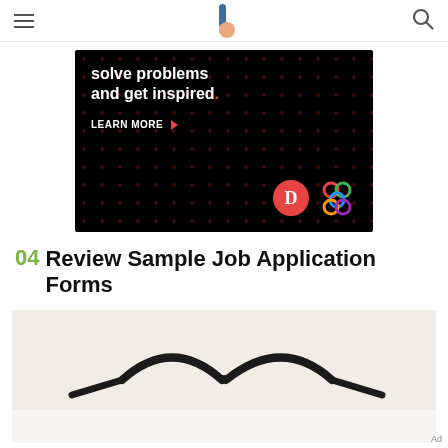Navigation header with hamburger menu, logo, and search icon
[Figure (other): Advertisement banner with dark background and red dots pattern. Text reads: solve problems and get inspired. LEARN MORE. Features a red D logo circle and colorful interlocking rings logo.]
04 Review Sample Job Application Forms
[Figure (photo): Close-up photo of eyeglasses frames against a light beige background, showing just the top portion of the frames.]
Ad